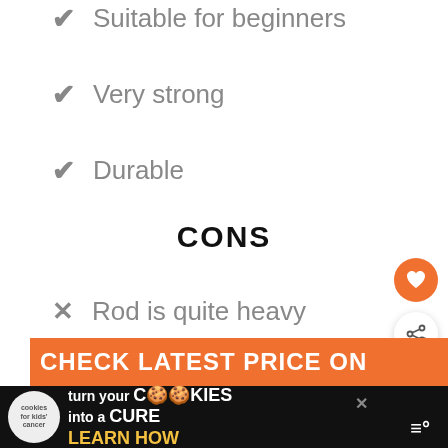Suitable for beginners
Very strong
Durable
CONS
Rod is quite heavy
[Figure (infographic): Orange heart/favorite floating button and share floating button on right side]
[Figure (infographic): What's Next panel showing Best Fly Fishing Rod...]
CHECK LATEST PRICE ON
[Figure (infographic): Ad banner: cookies for kids cancer - turn your cookies into a cure - learn how]